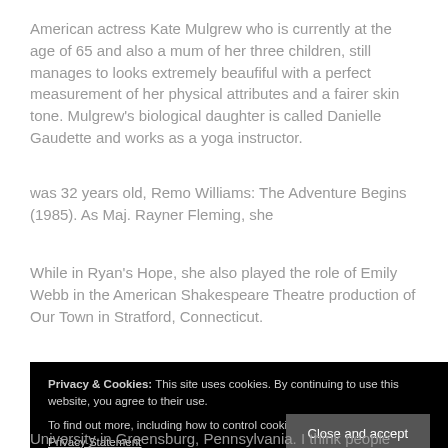American actress Kate Mulgrew who is currently at the age of 65 and also a mum of her three children, still manages to looks extremely beaufiful with a perfect measurement of her physical attributes and a fairer skin tone. Mulgrew's biological daughter is called Danielle Gaudette and works as a yoga instructor.
was 32 years old, Remo Williams: The Adventure Begins (1985). As Maj. Rayner Fleming, she
While in Ryan's Hope, she also played the role of Emily Webb in the American Shakespeare Theatre production of Our Town in Stratford, Connecticut.
Privacy & Cookies: This site uses cookies. By continuing to use this website, you agree to their use. To find out more, including how to control cookies, see here: Cookie & Privacy Statement
University in Greensburg, Pennsylvania. I think people